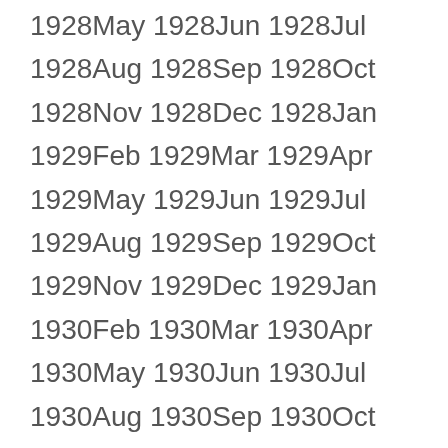1928May 1928Jun 1928Jul 1928Aug 1928Sep 1928Oct 1928Nov 1928Dec 1928Jan 1929Feb 1929Mar 1929Apr 1929May 1929Jun 1929Jul 1929Aug 1929Sep 1929Oct 1929Nov 1929Dec 1929Jan 1930Feb 1930Mar 1930Apr 1930May 1930Jun 1930Jul 1930Aug 1930Sep 1930Oct 1930Nov 1930Dec 1930Jan 1931Feb 1931Mar 1931Apr 1931May 1931Jun 1931Jul 1931Aug 1931Sep 1931Oct 1931Nov 1931Dec 1931Jan 1932Feb 1932Mar 1932Apr 1932May 1932Jun 1932Jul 1932Aug 1932Sep 1932Oct 1932Nov 1932Dec 1932Jan 1933Feb 1933Mar 1933Apr 1933May 1933Jun 1933Jul 1933Aug 1933Sep 1933Oct 1933Nov 1933Dec 1933Jan 1934Feb 1934Mar 1934Apr 1934May 1934Jun 1934Jul 1934Aug 1934Sep 1934Oct 1934Nov 1934Dec 1934Jan 1935Feb 1935Mar 1935Apr 1935May